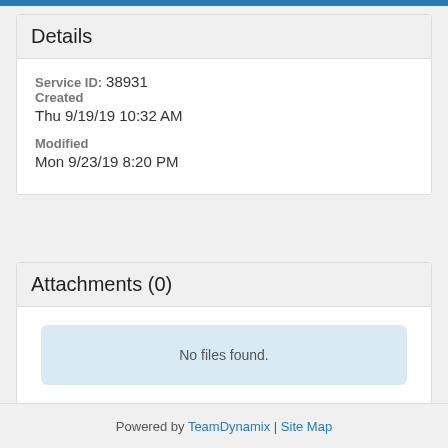Details
Service ID: 38931
Created
Thu 9/19/19 10:32 AM
Modified
Mon 9/23/19 8:20 PM
Attachments (0)
No files found.
Powered by TeamDynamix | Site Map